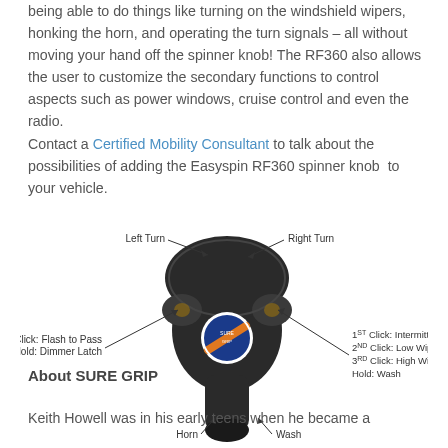being able to do things like turning on the windshield wipers, honking the horn, and operating the turn signals – all without moving your hand off the spinner knob!  The RF360 also allows the user to customize the secondary functions to control aspects such as power windows, cruise control and even the radio.
Contact a Certified Mobility Consultant to talk about the possibilities of adding the Easyspin RF360 spinner knob  to your vehicle.
[Figure (illustration): Diagram of the Easyspin RF360 spinner knob with labeled controls: Left Turn (top left), Right Turn (top right), Click: Flash to Pass / Hold: Dimmer Latch (left side), 1st Click: Intermittant Wiper / 2nd Click: Low Wiper / 3rd Click: High Wiper / Hold: Wash (right side), Horn (bottom left), Wash (bottom right). The knob has a blue circular logo in the center.]
About SURE GRIP
Keith Howell was in his early teens when he became a